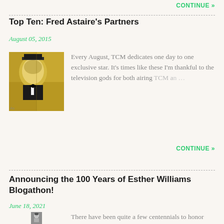CONTINUE »
Top Ten: Fred Astaire's Partners
August 05, 2015
[Figure (photo): Photo of Fred Astaire smiling, wearing a tuxedo and top hat, with yellow/golden background and 'As' text overlay]
Every August, TCM dedicates one day to one exclusive star. It's times like these I'm thankful to the television gods for both airing TCM an …
CONTINUE »
Announcing the 100 Years of Esther Williams Blogathon!
June 18, 2021
[Figure (photo): Black and white portrait photo of Esther Williams]
There have been quite a few centennials to honor this year -- Lana Turner, Donna Reed, Jane Russell, Judy Holliday, Dirk Bogarde …